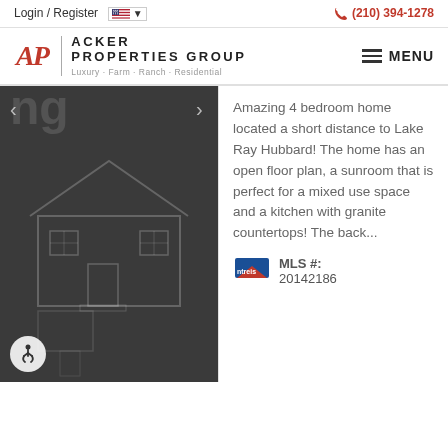Login / Register   🇺🇸 ▾   📞 (210) 394-1278
[Figure (logo): Acker Properties Group logo with red AP letters, vertical divider, company name and tagline 'Luxury · Farm · Ranch · Residential'. MENU button with hamburger icon on right.]
[Figure (photo): Dark gray background showing a faint house floor plan/architectural sketch with navigation arrows on either side and an accessibility icon in the bottom left corner.]
Amazing 4 bedroom home located a short distance to Lake Ray Hubbard! The home has an open floor plan, a sunroom that is perfect for a mixed use space and a kitchen with granite countertops! The back...
MLS #: 20142186